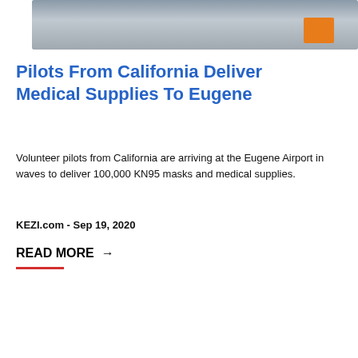[Figure (photo): Airport tarmac scene with luggage carts and orange container]
Pilots From California Deliver Medical Supplies To Eugene
Volunteer pilots from California are arriving at the Eugene Airport in waves to deliver 100,000 KN95 masks and medical supplies.
KEZI.com - Sep 19, 2020
READ MORE →
[Figure (photo): Person finishing a race through a finish line tape with crowd and banner flags in background]